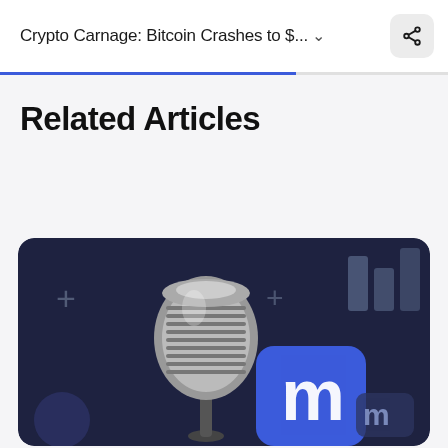Crypto Carnage: Bitcoin Crashes to $...
Related Articles
[Figure (illustration): Dark-themed promotional image with a retro silver microphone, a blue rounded-square app icon with a white 'M' logo (CoinMarketCap), decorative plus signs, a bar chart silhouette, a circular coin shape, and smaller M logo icon — all on a dark navy background.]